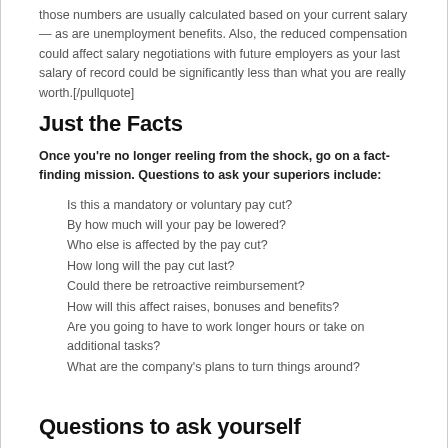those numbers are usually calculated based on your current salary — as are unemployment benefits. Also, the reduced compensation could affect salary negotiations with future employers as your last salary of record could be significantly less than what you are really worth.[/pullquote]
Just the Facts
Once you're no longer reeling from the shock, go on a fact-finding mission. Questions to ask your superiors include:
Is this a mandatory or voluntary pay cut?
By how much will your pay be lowered?
Who else is affected by the pay cut?
How long will the pay cut last?
Could there be retroactive reimbursement?
How will this affect raises, bonuses and benefits?
Are you going to have to work longer hours or take on additional tasks?
What are the company's plans to turn things around?
Questions to ask yourself